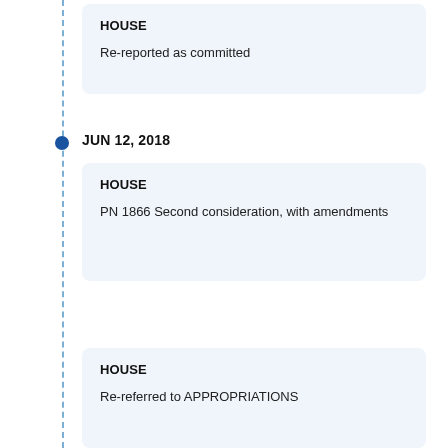HOUSE
Re-reported as committed
JUN 12, 2018
HOUSE
PN 1866 Second consideration, with amendments
HOUSE
Re-referred to APPROPRIATIONS